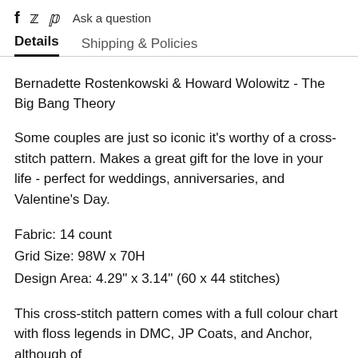f  ꩜  p  Ask a question
Details    Shipping & Policies
Bernadette Rostenkowski & Howard Wolowitz - The Big Bang Theory
Some couples are just so iconic it's worthy of a cross-stitch pattern. Makes a great gift for the love in your life - perfect for weddings, anniversaries, and Valentine's Day.
Fabric: 14 count
Grid Size: 98W x 70H
Design Area: 4.29" x 3.14" (60 x 44 stitches)
This cross-stitch pattern comes with a full colour chart with floss legends in DMC, JP Coats, and Anchor, although of